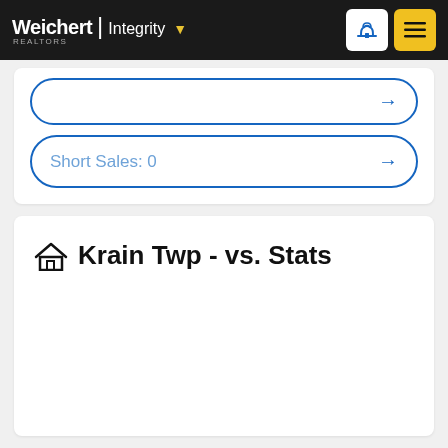Weichert | Integrity
Short Sales: 0
Krain Twp - vs. Stats